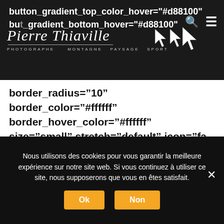[Figure (screenshot): Screenshot of a photography website (Pierre Thiaville — Photographe, Montagne Paysage Sport) showing a dark navigation bar with logo and cursor arrow icons overlaid on code text. Main content area shows shortcode/HTML code snippet. A cookie consent banner appears at the bottom with Ok and Non buttons.]
button_gradient_top_color_hover="#d88100" button_gradient_bottom_hover="#d88100" button_bevel_color_hover="#fffff" type="flat" bevel_color="" border_width="" border_radius="10" border_color="#ffffff" border_hover_color="#ffffff" size="small" stretch="default" icon="fa-angle-double-right fas" icon_position="left" icon_divider="no" animation_type="" animation_direction="left" animation_speed="0.3" animation_offset=""]Vente en ligne photo Thabor[/fusion_button] [/fusion_builder_column][fusion_builder_column
Nous utilisons des cookies pour vous garantir la meilleure expérience sur notre site web. Si vous continuez à utiliser ce site, nous supposerons que vous en êtes satisfait.
Ok
Non